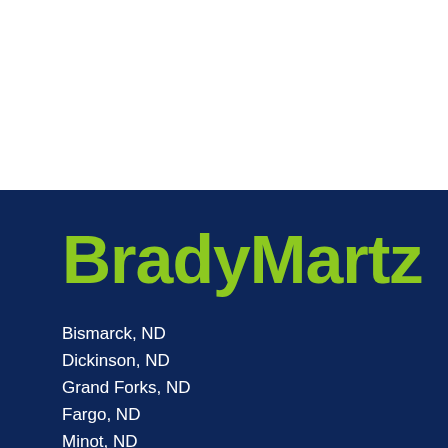[Figure (logo): BradyMartz company logo in lime green bold text on dark navy background]
Bismarck, ND
Dickinson, ND
Grand Forks, ND
Fargo, ND
Minot, ND
Crookston, MN